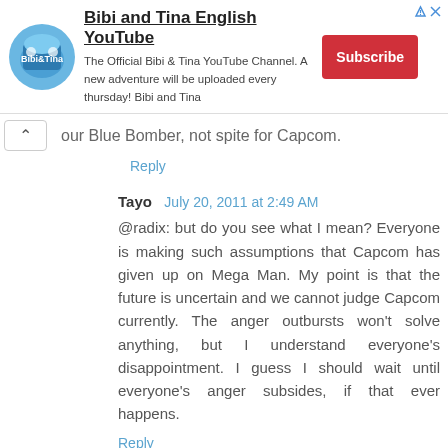[Figure (other): Advertisement banner for Bibi and Tina English YouTube channel with logo, text, and Subscribe button]
our Blue Bomber, not spite for Capcom.
Reply
Tayo  July 20, 2011 at 2:49 AM
@radix: but do you see what I mean? Everyone is making such assumptions that Capcom has given up on Mega Man. My point is that the future is uncertain and we cannot judge Capcom currently. The anger outbursts won't solve anything, but I understand everyone's disappointment. I guess I should wait until everyone's anger subsides, if that ever happens.
Reply
Anonymous  July 20, 2011 at 3:19 AM